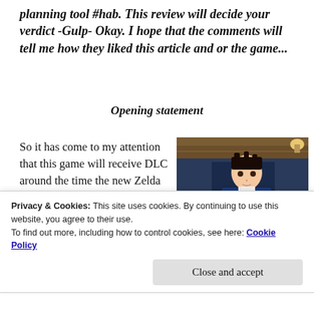planning tool #hab. This review will decide your verdict -Gulp- Okay. I hope that the comments will tell me how they liked this article and or the game...
Opening statement
So it has come to my attention that this game will receive DLC around the time the new Zelda game is going to be released. Yet, I have to study as well. So it'll be a busy period for me as
[Figure (screenshot): Screenshot from Ace Attorney game showing Phoenix Wright character in a courtroom, with dialogue 'Until these questions are answered, I assert it's impossible for a fair ruling to be made!' and evidence screen showing Attorney's Badge item.]
Privacy & Cookies: This site uses cookies. By continuing to use this website, you agree to their use.
To find out more, including how to control cookies, see here: Cookie Policy
Close and accept